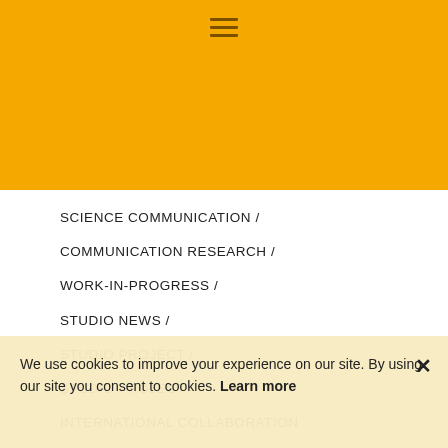[Figure (screenshot): Orange/yellow header bar with hamburger menu icon (three horizontal lines) in dark brown/amber color]
SCIENCE COMMUNICATION /
COMMUNICATION RESEARCH /
WORK-IN-PROGRESS /
STUDIO NEWS /
STUDIO PROJECT /
STUDIO PROJECT /
INTERNATIONAL COLLABORATION
We use cookies to improve your experience on our site. By using our site you consent to cookies. Learn more